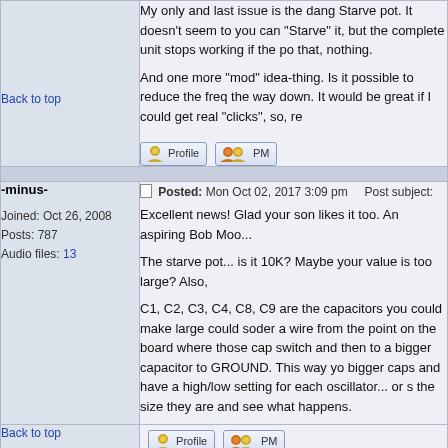My only and last issue is the dang Starve pot. It doesn't seem to you can "Starve" it, but the complete unit stops working if the po that, nothing.
And one more "mod" idea-thing. Is it possible to reduce the freq the way down. It would be great if I could get real "clicks", so, re
Back to top
Posted: Mon Oct 02, 2017 3:09 pm    Post subject:
-minus-
Joined: Oct 26, 2008
Posts: 787
Audio files: 13
Excellent news! Glad your son likes it too. An aspiring Bob Moo...
The starve pot... is it 10K? Maybe your value is too large? Also,
C1, C2, C3, C4, C8, C9 are the capacitors you could make large could soder a wire from the point on the board where those cap switch and then to a bigger capacitor to GROUND. This way yo bigger caps and have a high/low setting for each oscillator... or s the size they are and see what happens.
Back to top
Posted: Mon Oct 02, 2017 8:16 pm    Post subject:
Snaper